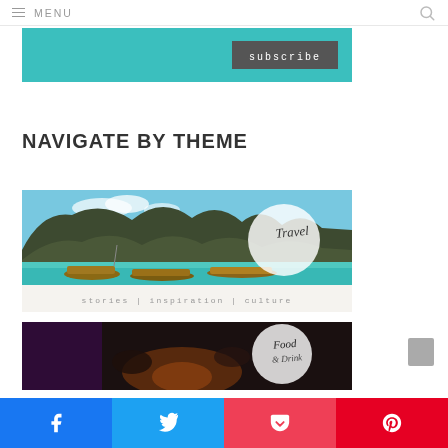☰ MENU
[Figure (screenshot): Subscribe banner with teal background and dark subscribe button]
NAVIGATE BY THEME
[Figure (photo): Travel themed banner with Thai longtail boats, turquoise water, limestone karsts, and a circle overlay with 'Travel' in script font. Below: stories | inspiration | culture]
[Figure (photo): Food themed banner with dark background showing hands near fire, and a circle overlay with script text starting 'Food']